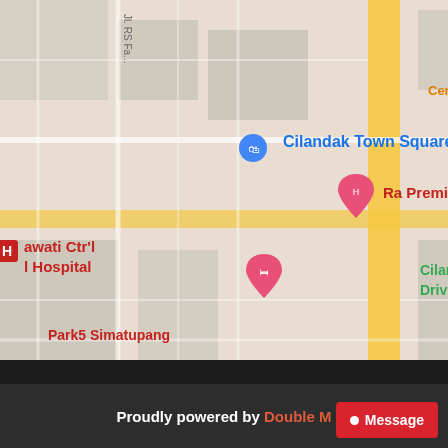[Figure (map): Google Maps screenshot showing Cilandak area in Jakarta, Indonesia. Notable landmarks visible include Cilandak Town Square, Ra Premiere Simatupang, Cilandak Marinir Driving Range, Park5 Simatupang, Transmart Cilandak, Poltekkes Kemenkes Jakarta 1, Cerita Rasa Nusantara, and a hospital labeled awati Ctr'l Hospital. Map pins in various colors (blue, red, pink, orange, green) mark points of interest.]
Proudly powered by Double M